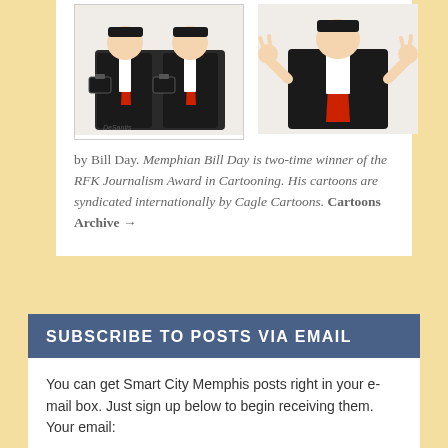[Figure (illustration): Two political cartoons by Bill Day showing caricatures of a politician (labeled DeSantis) in a suit with a red tie, one holding briefcases, one with hands raised.]
by Bill Day. Memphian Bill Day is two-time winner of the RFK Journalism Award in Cartooning. His cartoons are syndicated internationally by Cagle Cartoons. Cartoons Archive →
SUBSCRIBE TO POSTS VIA EMAIL
You can get Smart City Memphis posts right in your e-mail box. Just sign up below to begin receiving them. Your email: